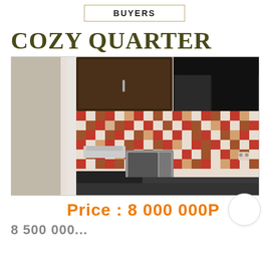BUYERS
COZY QUARTER
[Figure (photo): Interior kitchen photo showing dark wood upper cabinets, colorful mosaic tile backsplash in red/brown/cream, a stovetop with kitchen items, a microwave oven, and a small green plant in the foreground.]
Price : 8 000 000P
8 500 000...